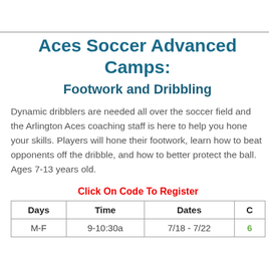Aces Soccer Advanced Camps: Footwork and Dribbling
Dynamic dribblers are needed all over the soccer field and the Arlington Aces coaching staff is here to help you hone your skills. Players will hone their footwork, learn how to beat opponents off the dribble, and how to better protect the ball. Ages 7-13 years old.
Click On Code To Register
| Days | Time | Dates | C |
| --- | --- | --- | --- |
| M-F | 9-10:30a | 7/18 - 7/22 | 6 |